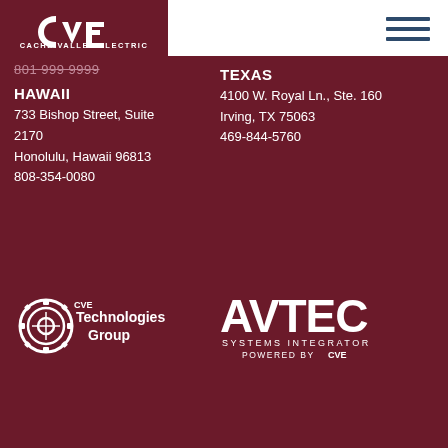[Figure (logo): Cache Valley Electric CVE logo in white on dark maroon background]
[Figure (other): Hamburger menu icon (three horizontal dark lines) on white background]
801-999-9999
HAWAII
733 Bishop Street, Suite 2170
Honolulu, Hawaii 96813
808-354-0080
TEXAS
4100 W. Royal Ln., Ste. 160
Irving, TX 75063
469-844-5760
[Figure (logo): CVE Technologies Group logo in white]
[Figure (logo): AVTEC Systems Integrator Powered by CVE logo in white]